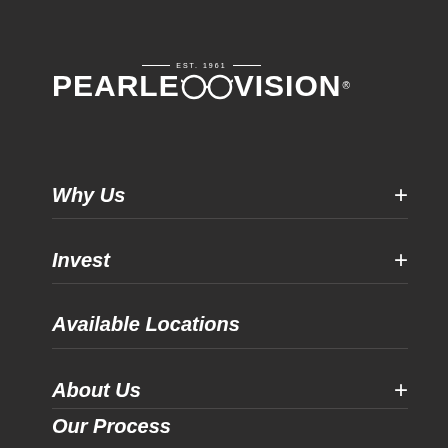[Figure (logo): Pearle Vision logo with 'EST. 1961' above the brand name, featuring two interlocked circles (representing glasses) between 'PEARLE' and 'VISION']
Why Us +
Invest +
Available Locations
About Us +
Our Process